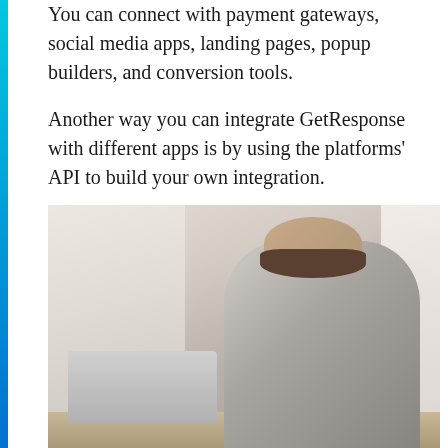You can connect with payment gateways, social media apps, landing pages, popup builders, and conversion tools.
Another way you can integrate GetResponse with different apps is by using the platforms' API to build your own integration.
[Figure (photo): A bearded tattooed man with glasses sitting at a desk, looking at his smartphone, with a laptop open in front of him, plants visible in the background, in a bright home office setting.]